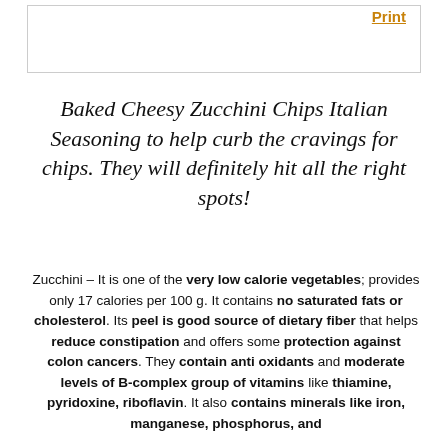Print
Baked Cheesy Zucchini Chips Italian Seasoning to help curb the cravings for chips. They will definitely hit all the right spots!
Zucchini – It is one of the very low calorie vegetables; provides only 17 calories per 100 g. It contains no saturated fats or cholesterol. Its peel is good source of dietary fiber that helps reduce constipation and offers some protection against colon cancers. They contain anti oxidants and moderate levels of B-complex group of vitamins like thiamine, pyridoxine, riboflavin. It also contains minerals like iron, manganese, phosphorus, and